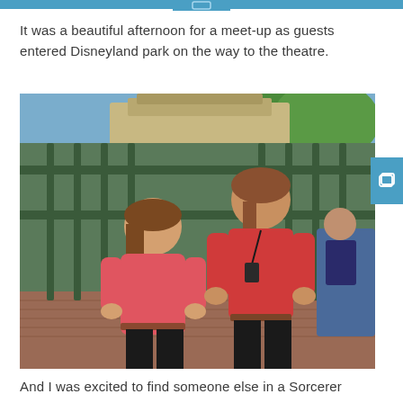It was a beautiful afternoon for a meet-up as guests entered Disneyland park on the way to the theatre.
[Figure (photo): Two women wearing red/pink tops standing together in front of green metal gates at Disneyland park entrance, smiling at camera.]
And I was excited to find someone else in a Sorcerer